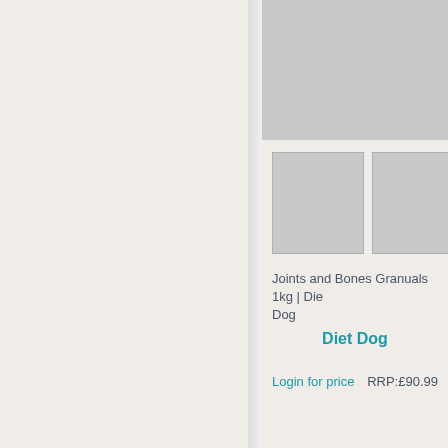[Figure (photo): Large grey product image placeholder at top right]
[Figure (photo): Two small grey thumbnail image placeholders]
Joints and Bones Granuals 1kg | Diet Dog
Diet Dog
Login for price
RRP:£90.99
[Figure (photo): Large grey product image placeholder at bottom right]